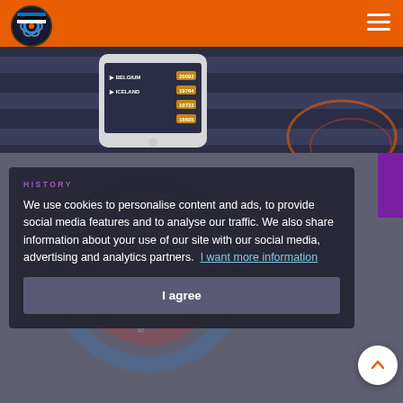Eurovision History website header with logo and hamburger menu
[Figure (photo): Phone/smartphone showing Eurovision Song Contest scoreboard with countries Belgium and Iceland visible, with scores 20093, 19764, 10723, 18605. Dark background with diagonal stripe design.]
HISTORY
We use cookies to personalise content and ads, to provide social media features and to analyse our traffic. We also share information about your use of our site with our social media, advertising and analytics partners. I want more information
I agree